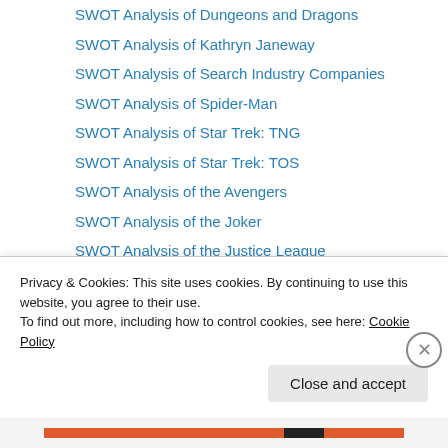SWOT Analysis of Dungeons and Dragons
SWOT Analysis of Kathryn Janeway
SWOT Analysis of Search Industry Companies
SWOT Analysis of Spider-Man
SWOT Analysis of Star Trek: TNG
SWOT Analysis of Star Trek: TOS
SWOT Analysis of the Avengers
SWOT Analysis of the Joker
SWOT Analysis of the Justice League
SWOT Analysis of the X-Men
Technology Lessons
AI Lesson
Computer Lab Vocabulary
Google
Privacy & Cookies: This site uses cookies. By continuing to use this website, you agree to their use.
To find out more, including how to control cookies, see here: Cookie Policy
Close and accept